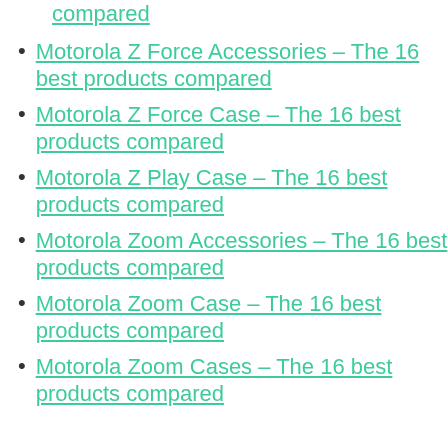compared
Motorola Z Force Accessories – The 16 best products compared
Motorola Z Force Case – The 16 best products compared
Motorola Z Play Case – The 16 best products compared
Motorola Zoom Accessories – The 16 best products compared
Motorola Zoom Case – The 16 best products compared
Motorola Zoom Cases – The 16 best products compared